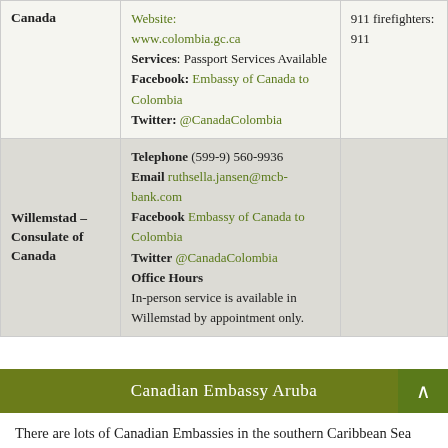| Location | Contact Details | Emergency Numbers |
| --- | --- | --- |
| Canada | Website: www.colombia.gc.ca
Services: Passport Services Available
Facebook: Embassy of Canada to Colombia
Twitter: @CanadaColombia | 911 firefighters: 911 |
| Willemstad – Consulate of Canada | Telephone (599-9) 560-9936
Email ruthsella.jansen@mcb-bank.com
Facebook Embassy of Canada to Colombia
Twitter @CanadaColombia
Office Hours
In-person service is available in Willemstad by appointment only. |  |
Canadian Embassy Aruba
There are lots of Canadian Embassies in the southern Caribbean Sea but if you are in Aruba, there is no need to